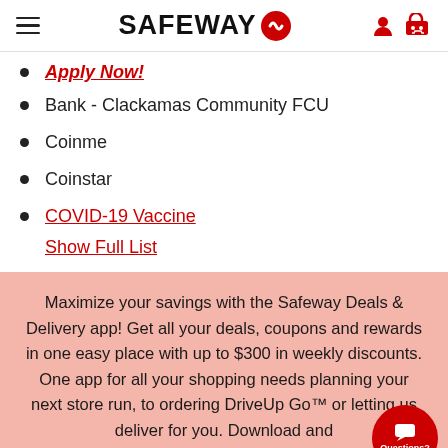SAFEWAY
Apply Now!
Bank - Clackamas Community FCU
Coinme
Coinstar
COVID-19 Vaccine
Show Full List
Maximize your savings with the Safeway Deals & Delivery app! Get all your deals, coupons and rewards in one easy place with up to $300 in weekly discounts. One app for all your shopping needs planning your next store run, to ordering DriveUp Go™ or letting us deliver for you. Download and